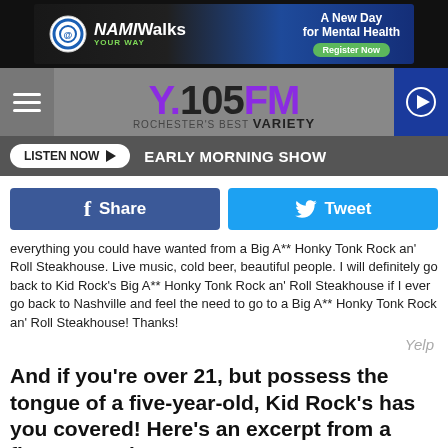[Figure (other): NAMIWalks Your Way advertisement banner - A New Day for Mental Health, Register Now]
[Figure (logo): Y.105FM Rochester's Best Variety radio station logo with hamburger menu and play button]
LISTEN NOW ▶  EARLY MORNING SHOW
[Figure (other): Facebook Share button and Twitter Tweet button]
everything you could have wanted from a Big A** Honky Tonk Rock an' Roll Steakhouse. Live music, cold beer, beautiful people. I will definitely go back to Kid Rock's Big A** Honky Tonk Rock an' Roll Steakhouse if I ever go back to Nashville and feel the need to go to a Big A** Honky Tonk Rock an' Roll Steakhouse! Thanks!
Yelp
And if you're over 21, but possess the tongue of a five-year-old, Kid Rock's has you covered! Here's an excerpt from a five-star review:
[Figure (other): NAMIWalks Your Way advertisement banner - A New Day for Mental Health, Register Now]